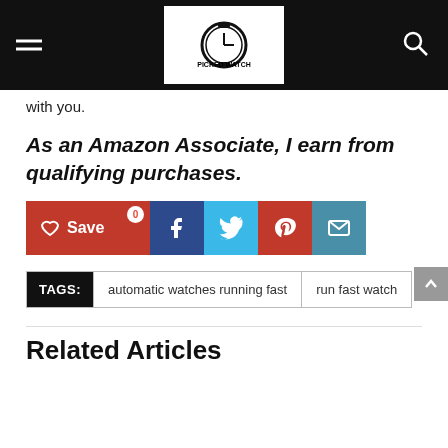Picked Watch
with you.
As an Amazon Associate, I earn from qualifying purchases.
[Figure (other): Social share buttons: Save (red), Facebook (dark blue), Twitter (light blue), Pinterest (red), Email (teal)]
TAGS: automatic watches running fast | run fast watch
Related Articles